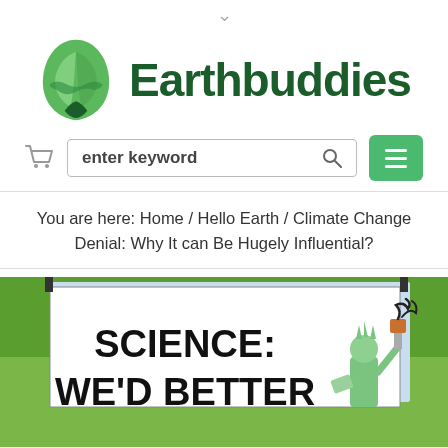[Figure (logo): Earthbuddies logo with green leaf icon and bold dark green text 'Earthbuddies']
[Figure (screenshot): Website search bar with cart icon, 'enter keyword' placeholder and green hamburger menu button]
You are here: Home / Hello Earth / Climate Change Denial: Why It can Be Hugely Influential?
[Figure (photo): Protest sign reading 'SCIENCE: WE'D BETTER' with cartoon Statue of Liberty holding smoking industrial stack, on green grass background]